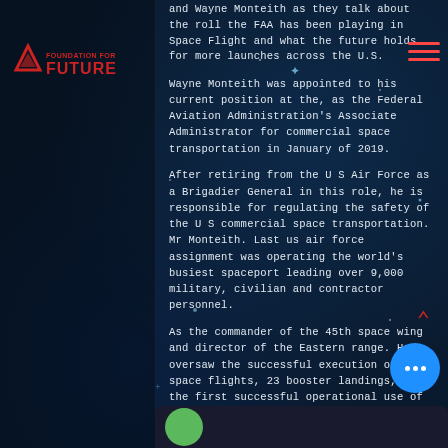FOUNDATION FOR FUTURE
and Wayne Monteith as they talk about the roll the FAA has been playing in Space Flight and what the future holds for more launches across the U.S.
Wayne Monteith was appointed to his current position at the, as the Federal Aviation Administration's Associate Administrator for commercial space transportation in January of 2019.
After retiring from the U S Air Force as a Brigadier General in this role, he is responsible for regulating the safety of the U S commercial space transportation. Mr Monteith. Last us air force assignment was operating the world's busiest spaceport leading over 9,000 military, civilian and contractor personnel.
As the commander of the 45th space wing and director of the Eastern range. He oversaw the successful execution of 66 space flights, 23 booster landings, and the first successful operational use of a fully autonomous flight.
For more information: https://www.faa.gov/about/key_officials/monteith/
Connect with Wayne on LinkedIn